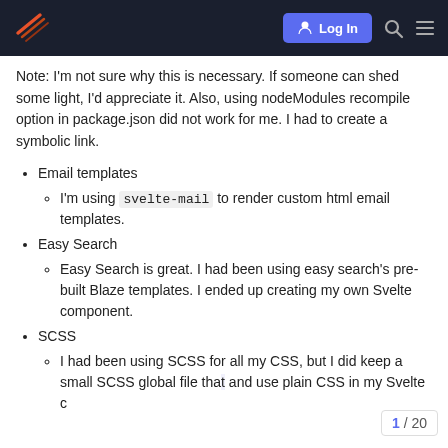Log In
Note: I'm not sure why this is necessary. If someone can shed some light, I'd appreciate it. Also, using nodeModules recompile option in package.json did not work for me. I had to create a symbolic link.
Email templates
I'm using svelte-mail to render custom html email templates.
Easy Search
Easy Search is great. I had been using easy search's pre-built Blaze templates. I ended up creating my own Svelte component.
SCSS
I had been using SCSS for all my CSS, but I did keep a small SCSS global file that and use plain CSS in my Svelte c...
1 / 20